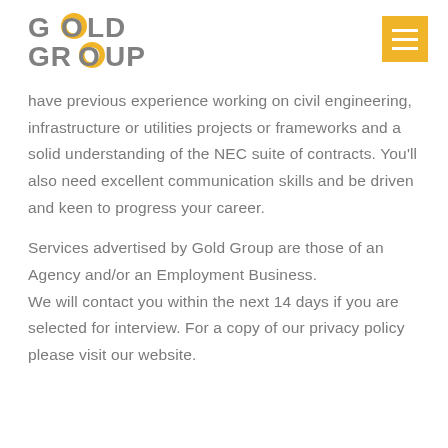[Figure (logo): Gold Group logo — GOLD GROUP text with a circular 'O' in gold/yellow color]
have previous experience working on civil engineering, infrastructure or utilities projects or frameworks and a solid understanding of the NEC suite of contracts. You'll also need excellent communication skills and be driven and keen to progress your career.

Services advertised by Gold Group are those of an Agency and/or an Employment Business.
We will contact you within the next 14 days if you are selected for interview. For a copy of our privacy policy please visit our website.